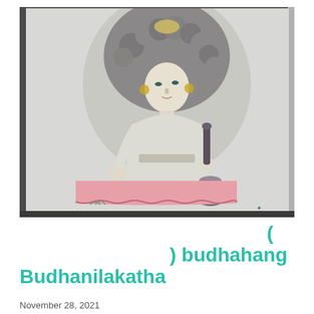[Figure (illustration): Watercolor or pencil illustration of a seated deity or royal figure with elaborate curly hair/headdress, wearing white robes, holding a vessel, seated on a pink-draped platform. The figure appears to be a traditional Nepali/Hindu artistic depiction.]
( ) budhahang Budhanilakatha
November 28, 2021